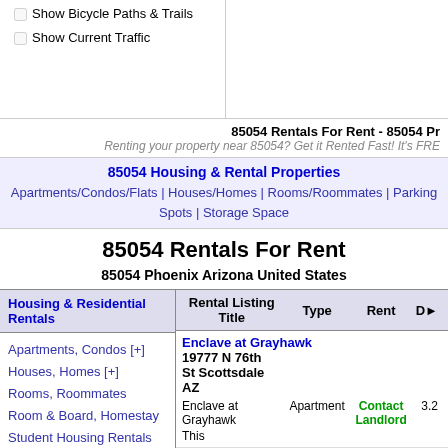Show Bicycle Paths & Trails
Show Current Traffic
85054 Rentals For Rent - 85054 Pr
Renting your property near 85054? Get it Rented Fast! It's FRE
85054 Housing & Rental Properties
Apartments/Condos/Flats | Houses/Homes | Rooms/Roommates | Parking Spots | Storage Space
85054 Rentals For Rent
85054 Phoenix Arizona United States
| Housing & Residential Rentals | Rental Listing Title | Type | Rent | D► |
| --- | --- | --- | --- | --- |
| Apartments, Condos [+]
Houses, Homes [+]
Rooms, Roommates
Room & Board, Homestay
Student Housing Rentals | Enclave at Grayhawk
19777 N 76th St Scottsdale AZ
Enclave at Grayhawk
This | Apartment | Contact Landlord | 3.2 |
| Parking & Storage Rentals |  |  |  |  |